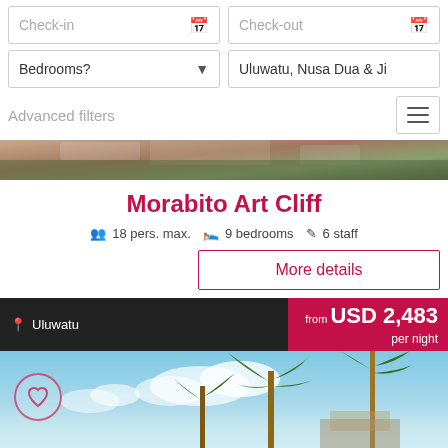Check-in
Check-out
Bedrooms?
Uluwatu, Nusa Dua & Ji
Advanced filters
[Figure (screenshot): Villa property photo strip showing rooftop and tropical garden]
Morabito Art Cliff
18 pers. max.   9 bedrooms   6 staff
More details
Uluwatu
from USD 2,483 per night
[Figure (photo): Tropical villa listing photo showing palm trees against blue sky]
Find out more: Villa Finder COVID-19 Booking Policy & Bali COVID-19 Travel Requirements